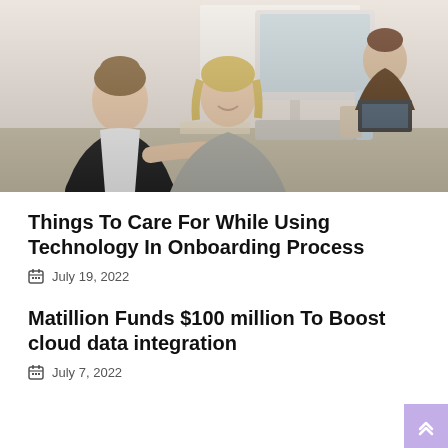[Figure (photo): Two women looking at a computer monitor together at an office desk; a man is visible in the background working at a laptop.]
Things To Care For While Using Technology In Onboarding Process
July 19, 2022
Matillion Funds $100 million To Boost cloud data integration
July 7, 2022